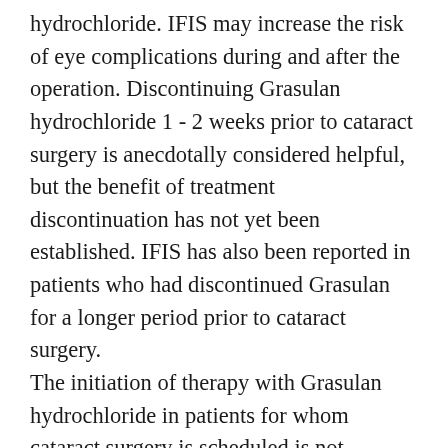hydrochloride. IFIS may increase the risk of eye complications during and after the operation. Discontinuing Grasulan hydrochloride 1 - 2 weeks prior to cataract surgery is anecdotally considered helpful, but the benefit of treatment discontinuation has not yet been established. IFIS has also been reported in patients who had discontinued Grasulan for a longer period prior to cataract surgery. The initiation of therapy with Grasulan hydrochloride in patients for whom cataract surgery is scheduled is not recommended. During pre-operative assessment, cataract surgeons and ophthalmic teams should consider whether patients scheduled for cataract surgery are being or have been treated with Grasulan in order to